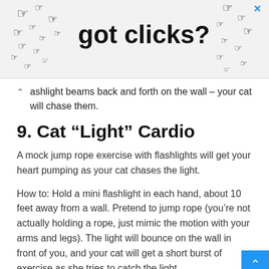[Figure (other): Advertisement banner with cursor icons and text 'got clicks?' with an X close button]
ashlight beams back and forth on the wall – your cat will chase them.
9. Cat “Light” Cardio
A mock jump rope exercise with flashlights will get your heart pumping as your cat chases the light.
How to: Hold a mini flashlight in each hand, about 10 feet away from a wall. Pretend to jump rope (you’re not actually holding a rope, just mimic the motion with your arms and legs). The light will bounce on the wall in front of you, and your cat will get a short burst of exercise as she tries to catch the light.
10. Curious Cat Curls